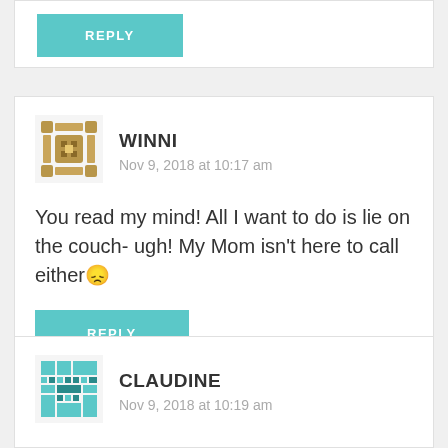[Figure (illustration): Partial teal/cyan reply button at top of page, cut off]
WINNI
Nov 9, 2018 at 10:17 am
You read my mind! All I want to do is lie on the couch- ugh! My Mom isn't here to call either 😞
REPLY
CLAUDINE
Nov 9, 2018 at 10:19 am
Darling!!! You got this!!! Yes your list was